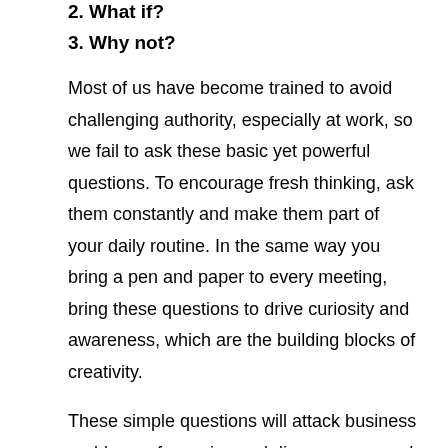2. What if?
3. Why not?
Most of us have become trained to avoid challenging authority, especially at work, so we fail to ask these basic yet powerful questions. To encourage fresh thinking, ask them constantly and make them part of your daily routine. In the same way you bring a pen and paper to every meeting, bring these questions to drive curiosity and awareness, which are the building blocks of creativity.
These simple questions will attack business problems of any size and discover new and imaginative solutions. Asking “Why?” helps you understand the current state of affairs in order to challenge the status